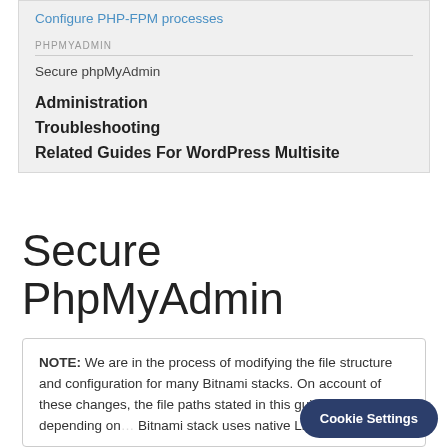Configure PHP-FPM processes
PHPMYADMIN
Secure phpMyAdmin
Administration
Troubleshooting
Related Guides For WordPress Multisite
Secure PhpMyAdmin
NOTE: We are in the process of modifying the file structure and configuration for many Bitnami stacks. On account of these changes, the file paths stated in this guide may change depending on the Bitnami stack uses native Linux system p...